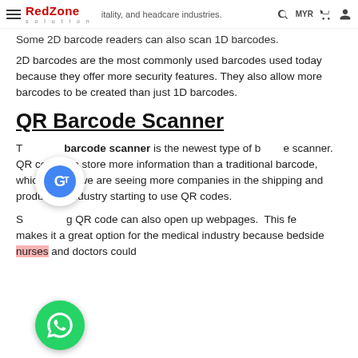RedZone Solution | hospitality, and healthcare industries. Some 2D barcode readers can also scan 1D barcodes.
2D barcodes are the most commonly used barcodes used today because they offer more security features. They also allow more barcodes to be created than just 1D barcodes.
QR Barcode Scanner
The QR barcode scanner is the newest type of barcode scanner. QR code can store more information than a traditional barcode, which is why we are seeing more companies in the shipping and production industry starting to use QR codes.
Scanning QR code can also open up webpages.  This feature makes it a great option for the medical industry because bedside nurses and doctors could